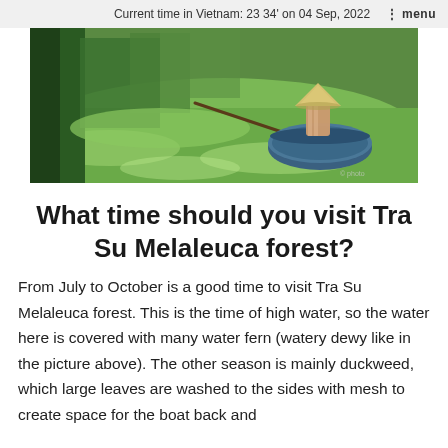Current time in Vietnam: 23 34' on 04 Sep, 2022  ⋮ menu
[Figure (photo): Person wearing a conical hat sitting in a round boat on a green water fern-covered waterway surrounded by trees]
What time should you visit Tra Su Melaleuca forest?
From July to October is a good time to visit Tra Su Melaleuca forest. This is the time of high water, so the water here is covered with many water fern (watery dewy like in the picture above). The other season is mainly duckweed, which large leaves are washed to the sides with mesh to create space for the boat back and